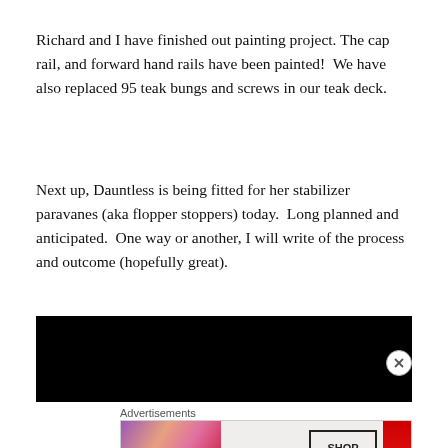Richard and I have finished out painting project. The cap rail, and forward hand rails have been painted!  We have also replaced 95 teak bungs and screws in our teak deck.
Next up, Dauntless is being fitted for her stabilizer paravanes (aka flopper stoppers) today.  Long planned and anticipated.  One way or another, I will write of the process and outcome (hopefully great).
[Figure (other): Black rectangular banner/image area]
Advertisements
[Figure (other): MAC Cosmetics advertisement banner showing lipsticks and SHOP NOW button]